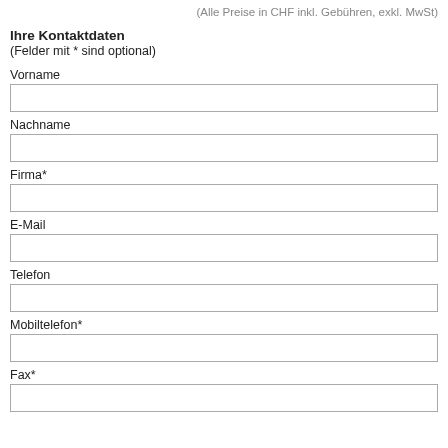(Alle Preise in CHF inkl. Gebühren, exkl. MwSt)
Ihre Kontaktdaten
(Felder mit * sind optional)
Vorname
Nachname
Firma*
E-Mail
Telefon
Mobiltelefon*
Fax*